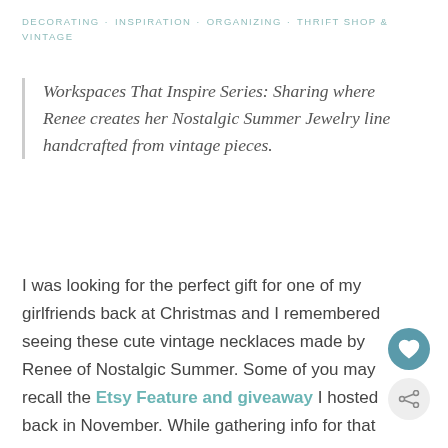DECORATING · INSPIRATION · ORGANIZING · THRIFT SHOP & VINTAGE
Workspaces That Inspire Series: Sharing where Renee creates her Nostalgic Summer Jewelry line handcrafted from vintage pieces.
I was looking for the perfect gift for one of my girlfriends back at Christmas and I remembered seeing these cute vintage necklaces made by Renee of Nostalgic Summer. Some of you may recall the Etsy Feature and giveaway I hosted back in November. While gathering info for that